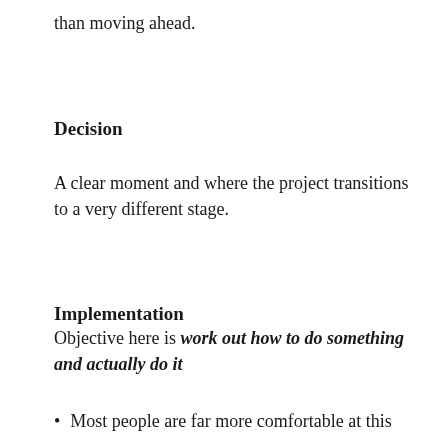than moving ahead.
Decision
A clear moment and where the project transitions to a very different stage.
Implementation
Objective here is work out how to do something and actually do it
Most people are far more comfortable at this